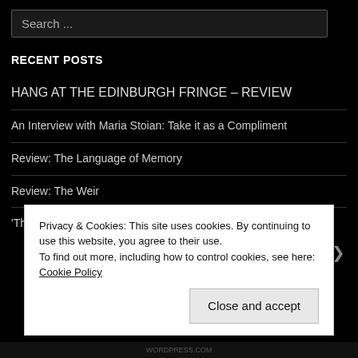Search ...
RECENT POSTS
HANG AT THE EDINBURGH FRINGE – REVIEW
An Interview with Maria Stoian: Take it as a Compliment
Review: The Language of Memory
Review: The Weir
'The Spirit of Fear Has Paralysed Us'
Privacy & Cookies: This site uses cookies. By continuing to use this website, you agree to their use. To find out more, including how to control cookies, see here: Cookie Policy
Close and accept